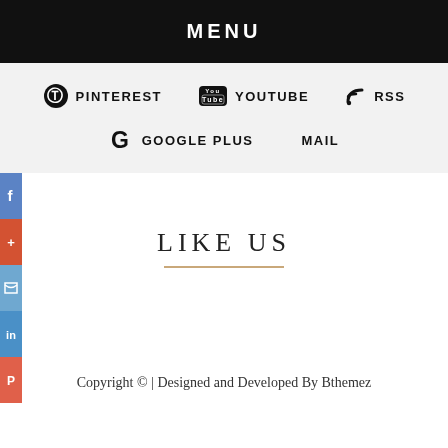MENU
PINTEREST  YOUTUBE  RSS
GOOGLE PLUS  MAIL
LIKE US
Copyright © | Designed and Developed By Bthemez